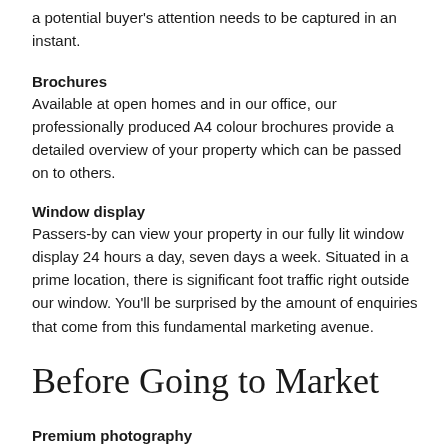a potential buyer's attention needs to be captured in an instant.
Brochures
Available at open homes and in our office, our professionally produced A4 colour brochures provide a detailed overview of your property which can be passed on to others.
Window display
Passers-by can view your property in our fully lit window display 24 hours a day, seven days a week. Situated in a prime location, there is significant foot traffic right outside our window. You'll be surprised by the amount of enquiries that come from this fundamental marketing avenue.
Before Going to Market
Premium photography
We use expert property photographers who will shoot a broad